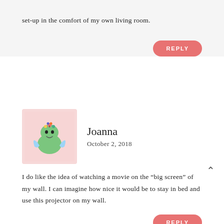☰
set-up in the comfort of my own living room.
REPLY
[Figure (illustration): Avatar illustration of a cartoon alien-like green character with wings and flowers on its head, on a pink background]
Joanna
October 2, 2018
I do like the idea of watching a movie on the “big screen” of my wall. I can imagine how nice it would be to stay in bed and use this projector on my wall.
REPLY